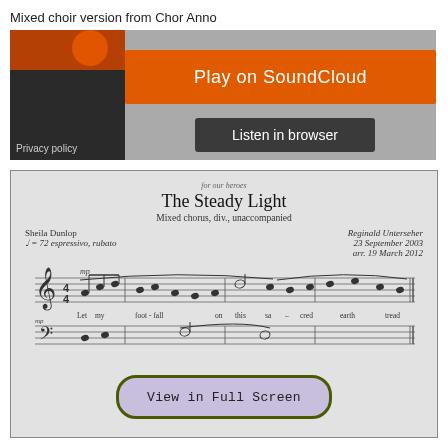Mixed choir version from Chor Anno
[Figure (screenshot): SoundCloud embedded player with 'Play on SoundCloud' orange button and 'Listen in browser' dark button, with artwork thumbnail on left]
[Figure (other): Sheet music for 'The Steady Light' by Reginald Unterseher, mixed chorus div. unaccompanied, arranged by Sheila Dunlop, showing first line of music with text 'Let my foot-fall on this sa-cred earth tread', with 'View in Full Screen' button overlay]